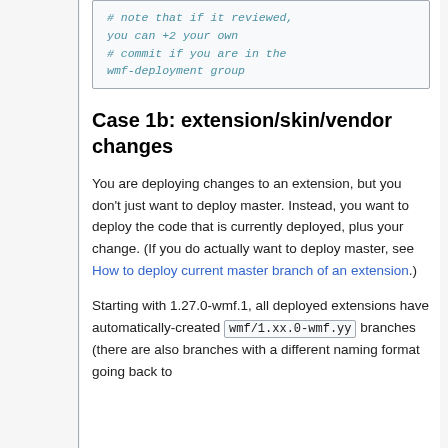# note that if it reviewed, you can +2 your own # commit if you are in the wmf-deployment group
Case 1b: extension/skin/vendor changes
You are deploying changes to an extension, but you don't just want to deploy master. Instead, you want to deploy the code that is currently deployed, plus your change. (If you do actually want to deploy master, see How to deploy current master branch of an extension.)
Starting with 1.27.0-wmf.1, all deployed extensions have automatically-created wmf/1.xx.0-wmf.yy branches (there are also branches with a different naming format going back to